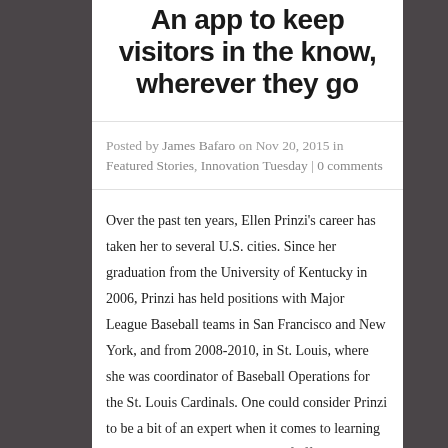An app to keep visitors in the know, wherever they go
Posted by James Bafaro on Nov 20, 2015 in Featured Stories, Innovation Tuesday | 0 comments
Over the past ten years, Ellen Prinzi's career has taken her to several U.S. cities. Since her graduation from the University of Kentucky in 2006, Prinzi has held positions with Major League Baseball teams in San Francisco and New York, and from 2008-2010, in St. Louis, where she was coordinator of Baseball Operations for the St. Louis Cardinals. One could consider Prinzi to be a bit of an expert when it comes to learning a new town, and in the amount of effort it takes to find fun,